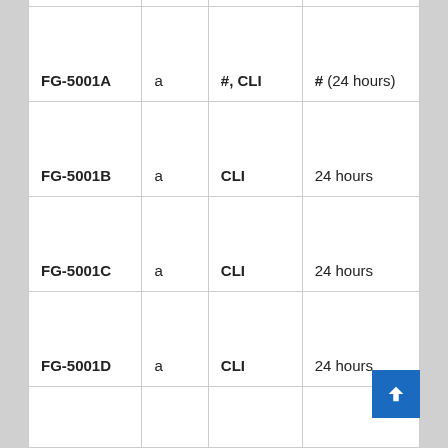| FG-5001A | a | #, CLI | # (24 hours) |
| FG-5001B | a | CLI | 24 hours |
| FG-5001C | a | CLI | 24 hours |
| FG-5001D | a | CLI | 24 hours |
|  |  |  |  |